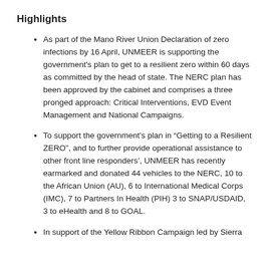Highlights
As part of the Mano River Union Declaration of zero infections by 16 April, UNMEER is supporting the government's plan to get to a resilient zero within 60 days as committed by the head of state. The NERC plan has been approved by the cabinet and comprises a three pronged approach: Critical Interventions, EVD Event Management and National Campaigns.
To support the government's plan in “Getting to a Resilient ZERO”, and to further provide operational assistance to other front line responders’, UNMEER has recently earmarked and donated 44 vehicles to the NERC, 10 to the African Union (AU), 6 to International Medical Corps (IMC), 7 to Partners In Health (PIH) 3 to SNAP/USDAID, 3 to eHealth and 8 to GOAL.
In support of the Yellow Ribbon Campaign led by Sierra